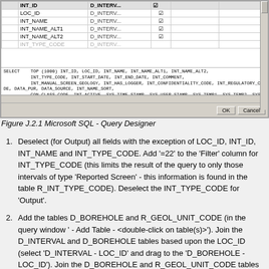[Figure (screenshot): Microsoft SQL Query Designer window showing a table grid with fields INT_ID, LOC_ID, INT_NAME, INT_NAME_ALT1, INT_NAME_ALT2 mapped to D_INTERV... column with checkboxes, and SQL SELECT statement below querying HOAR500_pub_flt_codes.dbo.D_INTERVAL]
Figure J.2.1 Microsoft SQL - Query Designer
Deselect (for Output) all fields with the exception of LOC_ID, INT_ID, INT_NAME and INT_TYPE_CODE. Add '=22' to the 'Filter' column for INT_TYPE_CODE (this limits the result of the query to only those intervals of type 'Reported Screen' - this information is found in the table R_INT_TYPE_CODE). Deselect the INT_TYPE_CODE for 'Output'.
Add the tables D_BOREHOLE and R_GEOL_UNIT_CODE (in the query window ' - Add Table - <double-click on table(s)>'). Join the D_INTERVAL and D_BOREHOLE tables based upon the LOC_ID (select 'D_INTERVAL - LOC_ID' and drag to the 'D_BOREHOLE - LOC_ID'). Join the D_BOREHOLE and R_GEOL_UNIT_CODE tables based upon the BH_OVRFLOW_UNIT_CODE and GEOL_UNIT_CODE. d...